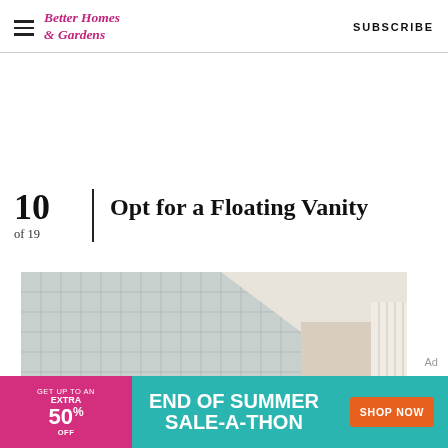Better Homes & Gardens  SUBSCRIBE
10 of 19  Opt for a Floating Vanity
[Figure (photo): Bathroom interior showing tiled wall and floating vanity area with curtains]
Ad
[Figure (other): Banner advertisement: GET UP TO AN EXTRA 50% OFF — END OF SUMMER SALE-A-THON — SHOP NOW]